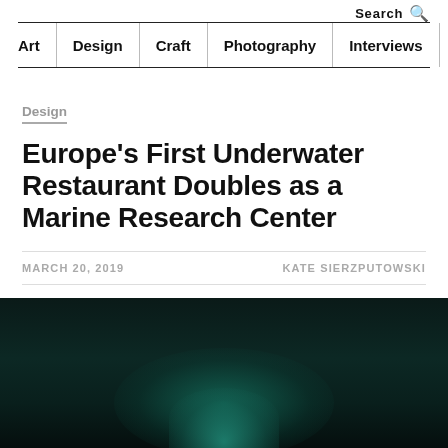Search
Art | Design | Craft | Photography | Interviews | More
Design
Europe’s First Underwater Restaurant Doubles as a Marine Research Center
MARCH 20, 2019
KATE SIERZPUTOWSKI
[Figure (photo): Dark underwater photograph with teal/green glow at the bottom center, showing what appears to be an underwater structure illuminated from within]